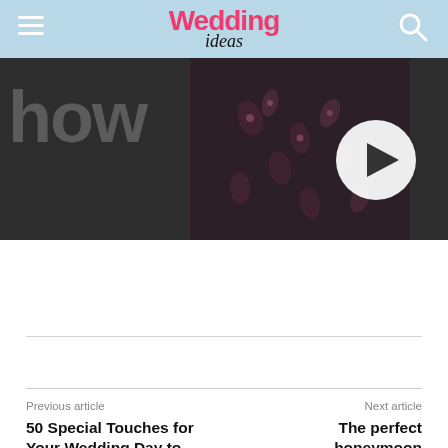Wedding ideas
[Figure (screenshot): Video player thumbnail showing partial text 'how' in large white letters on dark background, a person wearing a dark floral outfit in the center, and a white circular play button on the right side.]
Previous article
Next article
50 Special Touches for Your Wedding Day to make South...
The perfect honeymoon destination for She...